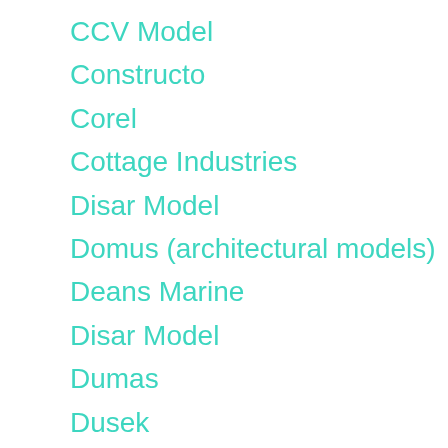CCV Model
Constructo
Corel
Cottage Industries
Disar Model
Domus (architectural models)
Deans Marine
Disar Model
Dumas
Dusek
Euromodel
Excel Tools
Flagship Models
Kolderstok
Krick
Mantua